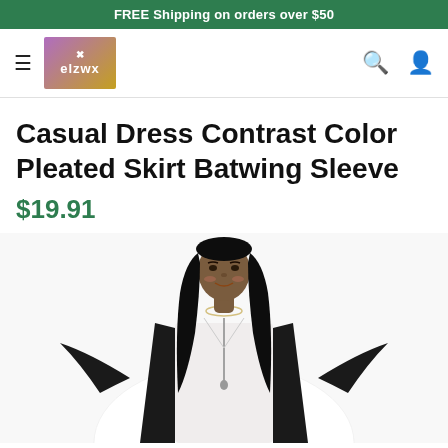FREE Shipping on orders over $50
[Figure (logo): AZWX brand logo with purple/gold gradient background and decorative symbol]
Casual Dress Contrast Color Pleated Skirt Batwing Sleeve
$19.91
[Figure (photo): A woman with long straight black hair wearing a white and black contrast color dress with batwing sleeves and a zipper neckline, smiling at the camera]